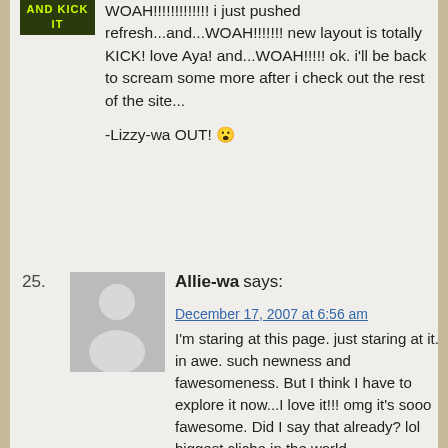[Figure (illustration): Small banner image with text AND KICK IT on green/dark background]
WOAH!!!!!!!!!!!!! i just pushed refresh...and...WOAH!!!!!!! new layout is totally KICK! love Aya! and...WOAH!!!!! ok. i'll be back to scream some more after i check out the rest of the site...

-Lizzy-wa OUT! 😮
25.
[Figure (illustration): Default gray avatar placeholder with silhouette figure]
Allie-wa says:
December 17, 2007 at 6:56 am
I'm staring at this page. just staring at it. in awe. such newness and fawesomeness. But I think I have to explore it now...I love it!!! omg it's sooo fawesome. Did I say that already? lol biggest cliche in the world.